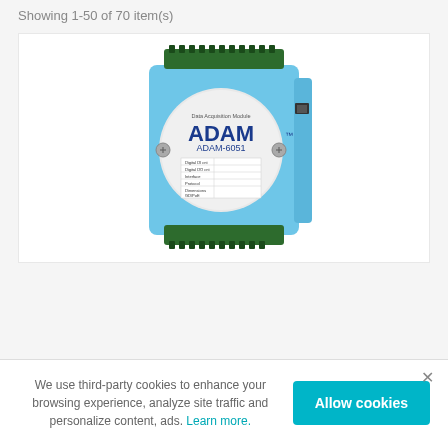Showing 1-50 of 70 item(s)
[Figure (photo): ADAM-6051 Data Acquisition Module by Advantech — a light blue industrial IoT module with green terminal connectors at top and bottom, featuring the ADAM brand logo on a round label in the center.]
We use third-party cookies to enhance your browsing experience, analyze site traffic and personalize content, ads. Learn more.